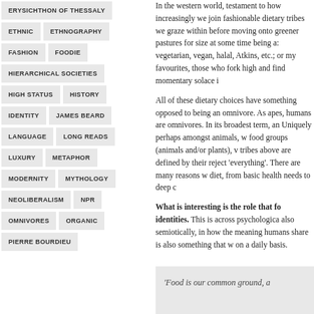ERYSICHTHON OF THESSALY
ETHNIC
ETHNOGRAPHY
FASHION
FOODIE
HIERARCHICAL SOCIETIES
HIGH STATUS
HISTORY
IDENTITY
JAMES BEARD
LANGUAGE
LONG READS
LUXURY
METAPHOR
MODERNITY
MYTHOLOGY
NEOLIBERALISM
NPR
OMNIVORES
ORGANIC
PIERRE BOURDIEU
In the western world, testament to how increasingly we join fashionable dietary tribes we graze within before moving onto greener pastures for size at some time being a: vegetarian, vegan, halal, Atkins, etc.; or my favourites, those who fork high and find momentary solace in...
All of these dietary choices have something in common opposed to being an omnivore. As apes, humans are omnivores. In its broadest term, animals that Uniquely perhaps amongst animals, we can survive on food groups (animals and/or plants), while all the tribes above are defined by their rejection of 'everything'. There are many reasons we restrict our diet, from basic health needs to deep cultural...
What is interesting is the role that food plays in identities. This is across psychological terms but also semiotically, in how the meaning humans share is also something that we consume on a daily basis.
'Food is our common ground, a...